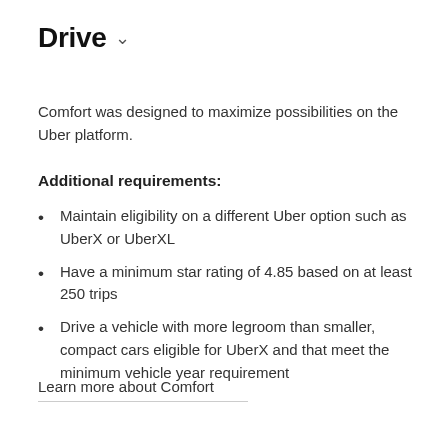Drive ˅
Comfort was designed to maximize possibilities on the Uber platform.
Additional requirements:
Maintain eligibility on a different Uber option such as UberX or UberXL
Have a minimum star rating of 4.85 based on at least 250 trips
Drive a vehicle with more legroom than smaller, compact cars eligible for UberX and that meet the minimum vehicle year requirement
Learn more about Comfort